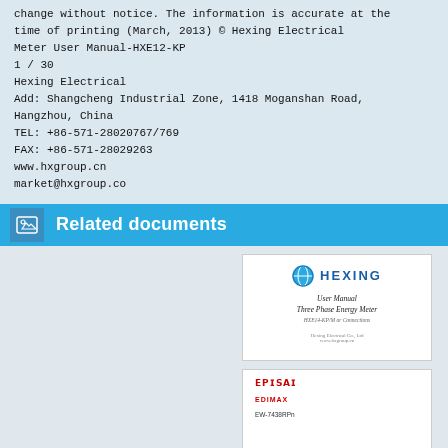change without notice. The information is accurate at the
time of printing (March, 2013) © Hexing Electrical
Meter User Manual-HXE12-KP
1 / 30
Hexing Electrical
Add: Shangcheng Industrial Zone, 1418 Moganshan Road,
Hangzhou, China
TEL: +86-571-28020767/769
FAX: +86-571-28029263
www.hxgroup.cn
market@hxgroup.co
Related documents
[Figure (illustration): Thumbnail of Hexing Electrical User Manual - Three Phase Energy Meter cover page, showing the Hexing globe logo, company name, and document title.]
[Figure (illustration): Thumbnail of Edimax EW-7438RPn User Manual cover page, showing the Edimax logo and a dark header bar with User Manual text.]